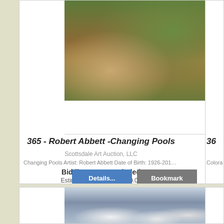[Figure (illustration): Painting of a forest/river scene with autumn foliage and trees, partially visible at top of first auction card]
365 - Robert Abbett -Changing Pools
Scottsdale Art Auction, LLC
Changing Pools Artist: Robert Abbett Date of Birth: 1926-2015 Medium:...
Bidding Has Concluded
Estimate : 4,000.00 - 6,000.00
[Figure (illustration): Painting of mountain goats on rocky terrain with blue/grey mountain background, partially visible in second auction card]